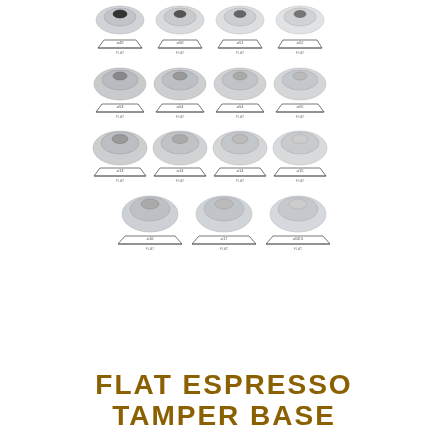[Figure (illustration): Grid of 15 flat espresso tamper bases shown in 4 rows of 4 and a final row of 3. Each item shows a photo of the tamper from above and a technical line-drawing profile labeled with diameter and 'FLAT'. Sizes range from ø49 to ø58.5.]
FLAT ESPRESSO TAMPER BASE